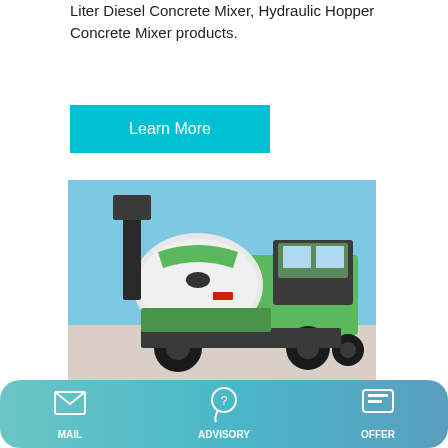Liter Diesel Concrete Mixer, Hydraulic Hopper Concrete Mixer products.
Learn More
[Figure (photo): Green and black self-loading concrete mixer truck with hydraulic lift hopper, parked on gravel/sand surface under blue sky.]
Professional Concrete Mixer With Lift Hydraulic Hopper
Concrete Mixer With Lift Hydraulic Hopper - manufacturer,
MAIL   ADVISORY   OFFER